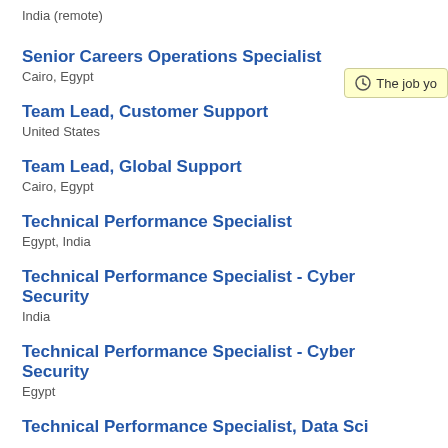India (remote)
Senior Careers Operations Specialist
Cairo, Egypt
Team Lead, Customer Support
United States
Team Lead, Global Support
Cairo, Egypt
Technical Performance Specialist
Egypt, India
Technical Performance Specialist - Cyber Security
India
Technical Performance Specialist - Cyber Security
Egypt
Technical Performance Specialist, Data Sci...